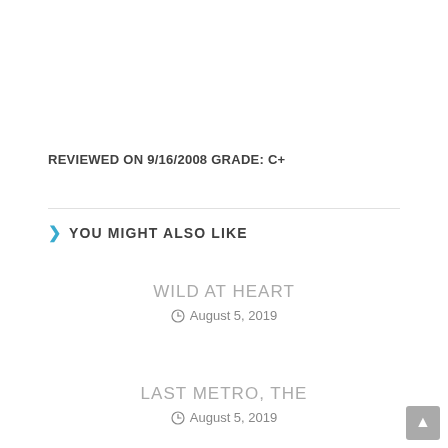REVIEWED ON 9/16/2008 GRADE: C+
YOU MIGHT ALSO LIKE
WILD AT HEART
August 5, 2019
LAST METRO, THE
August 5, 2019